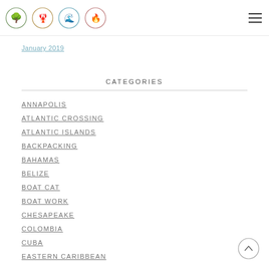[Figure (logo): Four circular logo icons: tree, lobster/creature, wave/leaf, flame]
January 2019
CATEGORIES
ANNAPOLIS
ATLANTIC CROSSING
ATLANTIC ISLANDS
BACKPACKING
BAHAMAS
BELIZE
BOAT CAT
BOAT WORK
CHESAPEAKE
COLOMBIA
CUBA
EASTERN CARIBBEAN